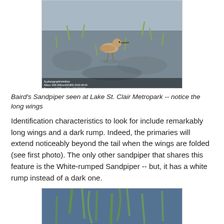[Figure (photo): Baird's Sandpiper bird standing in shallow muddy water with small green plant shoots emerging, photographed at Lake St. Clair Metropark. Photo includes metadata text overlay at bottom.]
Baird's Sandpiper seen at Lake St. Clair Metropark -- notice the long wings
Identification characteristics to look for include remarkably long wings and a dark rump. Indeed, the primaries will extend noticeably beyond the tail when the wings are folded (see first photo). The only other sandpiper that shares this feature is the White-rumped Sandpiper -- but, it has a white rump instead of a dark one.
[Figure (photo): Close-up photo showing small green plant shoots or seedlings in blue-tinted shallow water, blurred background with similar vegetation.]